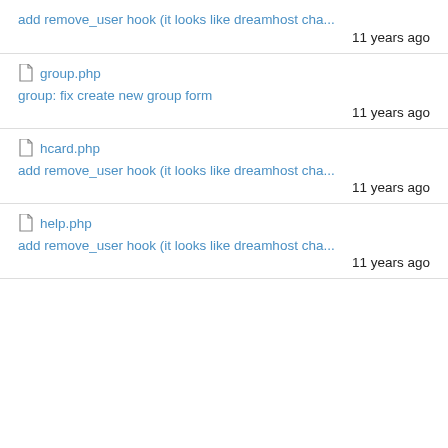add remove_user hook (it looks like dreamhost cha...
11 years ago
group.php
group: fix create new group form
11 years ago
hcard.php
add remove_user hook (it looks like dreamhost cha...
11 years ago
help.php
add remove_user hook (it looks like dreamhost cha...
11 years ago